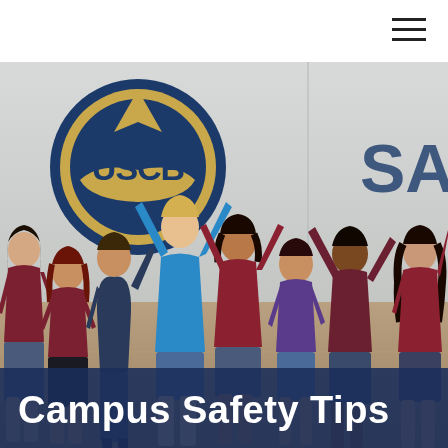[Figure (photo): Group of 8 smiling and cheering college students standing in a gymnasium in front of the USCB (University of South Carolina Beaufort) shark logo on the wall. Students are wearing USCB branded t-shirts in maroon, blue, and other colors. The student in the center is wearing a bright blue shirt with arms raised. The text 'SA' is partially visible on the right side of the background wall.]
Campus Safety Tips